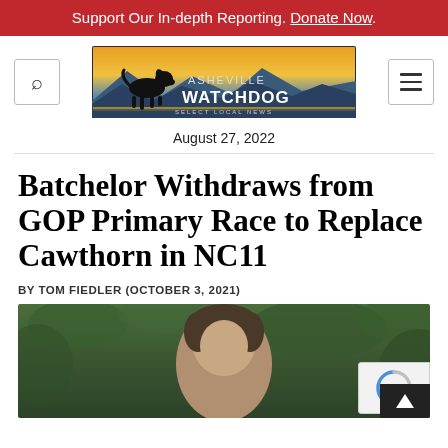Support Our In-depth Reporting. Donate Now.
[Figure (logo): Asheville Watchdog logo with dog silhouette and mountain/sunset background. Text: ASHEVILLE WATCHDOG SELECT LOCAL NEWS]
August 27, 2022
Batchelor Withdraws from GOP Primary Race to Replace Cawthorn in NC11
BY TOM FIEDLER (OCTOBER 3, 2021)
[Figure (photo): Photo of a man with short dark hair, outdoors with green foliage in background, cropped to head and shoulders]